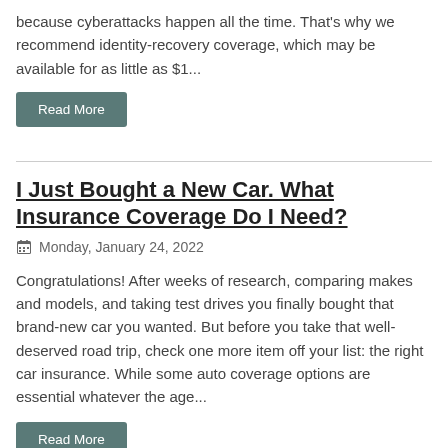because cyberattacks happen all the time. That's why we recommend identity-recovery coverage, which may be available for as little as $1...
Read More
I Just Bought a New Car. What Insurance Coverage Do I Need?
Monday, January 24, 2022
Congratulations! After weeks of research, comparing makes and models, and taking test drives you finally bought that brand-new car you wanted. But before you take that well-deserved road trip, check one more item off your list: the right car insurance. While some auto coverage options are essential whatever the age...
Read More